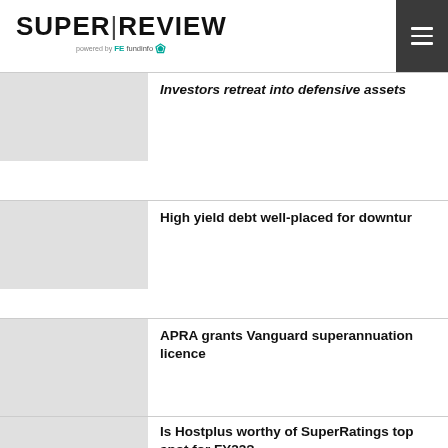SUPER|REVIEW powered by FE fundinfo
Investors retreat into defensive assets
High yield debt well-placed for downtur...
APRA grants Vanguard superannuation licence
Is Hostplus worthy of SuperRatings top spot for FY22?
ASIC urges super trustees to improve